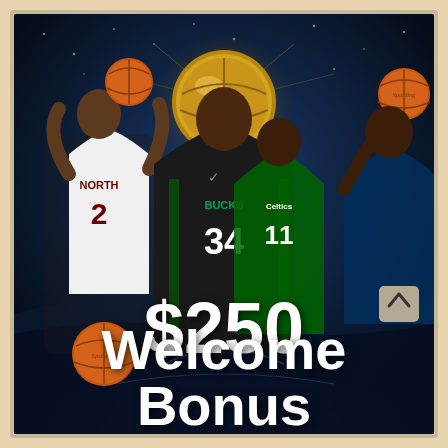[Figure (photo): Promotional sports betting advertisement showing NBA basketball players including players in Raptors #2, Bucks #34, and Celtics #11 jerseys, with a large golden basketball trophy in the background on a dark blue starry background.]
$250
Welcome Bonus